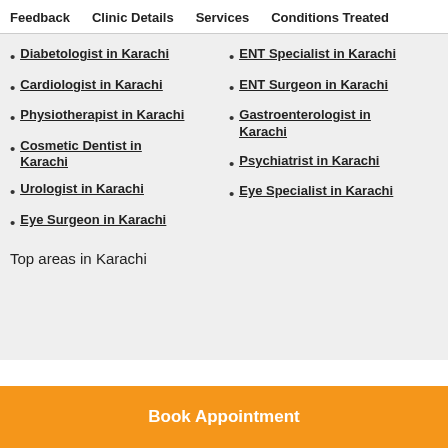Feedback   Clinic Details   Services   Conditions Treated
Diabetologist in Karachi
ENT Specialist in Karachi
Cardiologist in Karachi
ENT Surgeon in Karachi
Physiotherapist in Karachi
Gastroenterologist in Karachi
Cosmetic Dentist in Karachi
Psychiatrist in Karachi
Urologist in Karachi
Eye Specialist in Karachi
Eye Surgeon in Karachi
Top areas in Karachi
Book Appointment